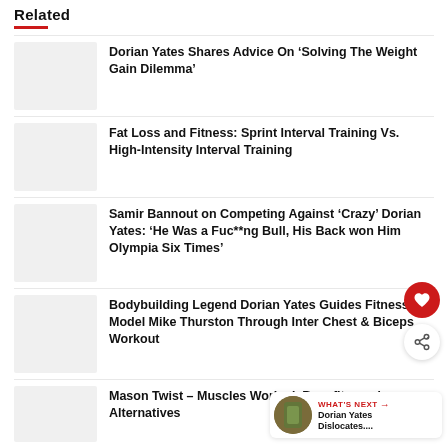Related
Dorian Yates Shares Advice On ‘Solving The Weight Gain Dilemma’
Fat Loss and Fitness: Sprint Interval Training Vs. High-Intensity Interval Training
Samir Bannout on Competing Against ‘Crazy’ Dorian Yates: ‘He Was a Fuc**ng Bull, His Back won Him Olympia Six Times’
Bodybuilding Legend Dorian Yates Guides Fitness Model Mike Thurston Through Inter Chest & Biceps Workout
Mason Twist – Muscles Worked, Benefits, and Alternatives
WHAT'S NEXT → Dorian Yates Dislocates....